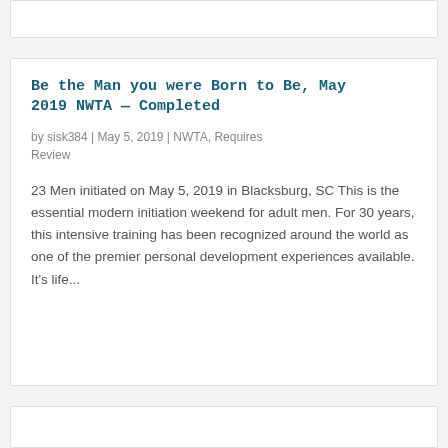Be the Man you were Born to Be, May 2019 NWTA — Completed
by sisk384 | May 5, 2019 | NWTA, Requires Review
23 Men initiated on May 5, 2019 in Blacksburg, SC This is the essential modern initiation weekend for adult men. For 30 years, this intensive training has been recognized around the world as one of the premier personal development experiences available. It's life…